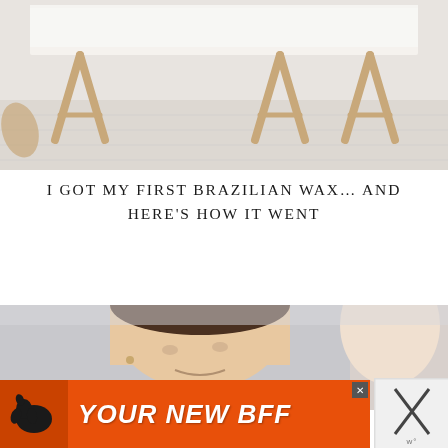[Figure (photo): White waxing treatment bed/table with wooden folding frame legs on a white wooden floor, spa or salon setting]
I GOT MY FIRST BRAZILIAN WAX… AND HERE'S HOW IT WENT
[Figure (photo): Two people in a salon/spa setting, partial view of faces]
[Figure (other): Advertisement banner with orange background showing a dog silhouette and text YOUR NEW BFF, with close buttons]